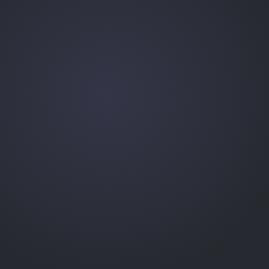[Figure (other): Dark navy/charcoal background page with no visible text or distinct content elements. The page appears to be a solid dark color, approximately #2d2f3e, with very subtle tonal variations.]